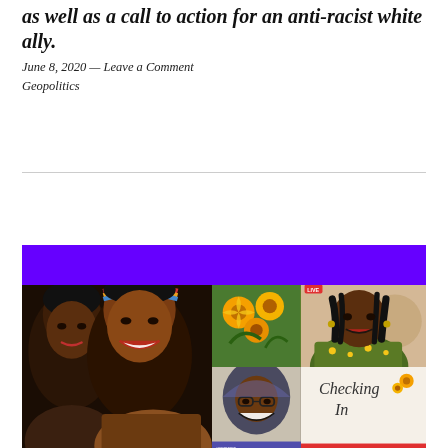as well as a call to action for an anti-racist white ally.
June 8, 2020 — Leave a Comment
Geopolitics
[Figure (photo): Composite image with a purple banner at top, and below: left panel shows two Black women smiling closely together, one wearing a colorful headband; center top shows yellow flowers; center bottom shows a smiling woman wearing a hijab in a video call; right top shows a Black woman smiling in a live video stream; right bottom shows handwritten text 'Checking In'.]